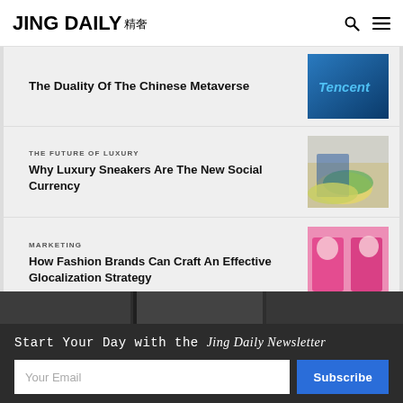JING DAILY 精奢
The Duality Of The Chinese Metaverse
THE FUTURE OF LUXURY
Why Luxury Sneakers Are The New Social Currency
MARKETING
How Fashion Brands Can Craft An Effective Glocalization Strategy
[Figure (photo): Tencent building sign with blue/teal illuminated letters]
[Figure (photo): Close-up of colorful luxury sneakers (yellow, green, teal) with blue jeans and brown loafers in background]
[Figure (photo): Two fashion models in hot pink blazers against pink background]
[Figure (photo): Partial dark background image visible above newsletter section]
Start Your Day with the Jing Daily Newsletter
Your Email
Subscribe